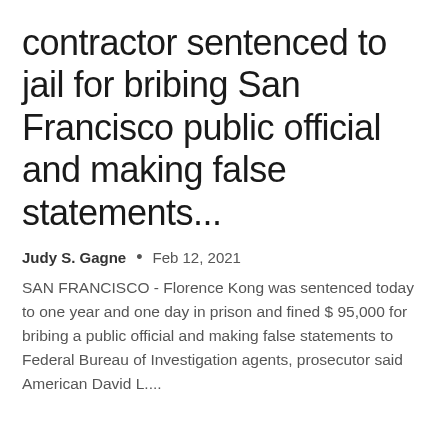contractor sentenced to jail for bribing San Francisco public official and making false statements...
Judy S. Gagne • Feb 12, 2021
SAN FRANCISCO - Florence Kong was sentenced today to one year and one day in prison and fined $ 95,000 for bribing a public official and making false statements to Federal Bureau of Investigation agents, prosecutor said American David L....